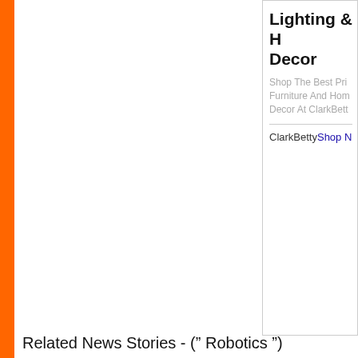[Figure (other): Advertisement box for Lighting & Home Decor on ClarkBetty]
Related News Stories - (" Robotics ")
CyberOne Robot By Xiaomi vs. Optim...
'I shall introduce myself... I am a robot.' - Isaac...
Giving Snakes Their Legs Back
Then some unknown race had chanced upon... 'help them out.' - Vernor Vinge, 1992.
Video! Chess Robot Breaks Opponer...
'A robot may not injure a human being.' - Isaac...
NAVER Labs Haptic Device 2.0 Robo...
'... the two pairs of waldoes in the screen follow... parallelism.' - Robert Heinlein, 1942.